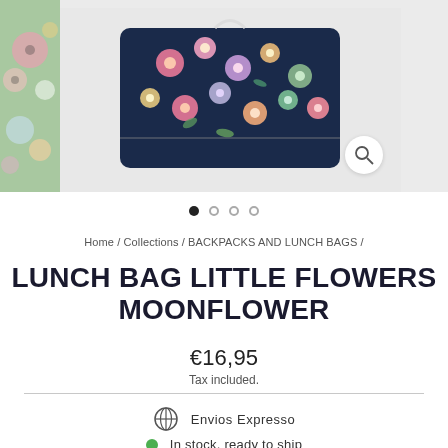[Figure (photo): Product photography of a floral lunch bag (Lunch Bag Little Flowers Moonflower). Left side shows a partially visible colorful floral pattern on green background. Center shows the main product image of a rectangular lunch bag with dark navy background and colorful flower print on a light grey background. Right side is cut off. A zoom/search icon button is visible at bottom right of the center image.]
• • • •
Home / Collections / BACKPACKS AND LUNCH BAGS /
LUNCH BAG LITTLE FLOWERS MOONFLOWER
€16,95
Tax included.
Envios Expresso
In stock, ready to ship